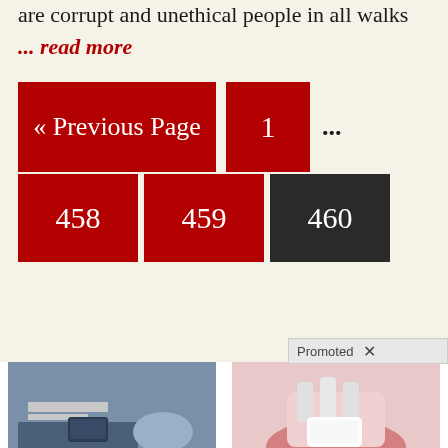are corrupt and unethical people in all walks
... read more
« Previous Page
1
...
458
459
460
Promoted X
[Figure (photo): Person using calculator at a desk with documents]
Getting A Loan Might Be Easier Than You Think
148
[Figure (photo): Dental implant illustration showing tooth in gum]
See If You Qualify For Government Dental Implant Grants
8,127